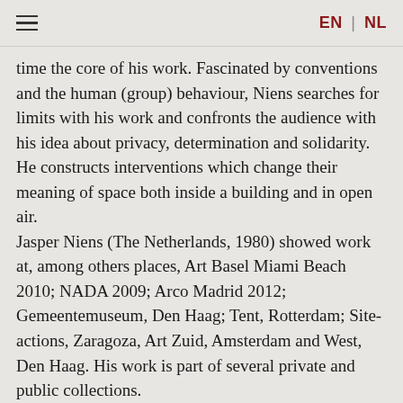EN | NL
time the core of his work. Fascinated by conventions and the human (group) behaviour, Niens searches for limits with his work and confronts the audience with his idea about privacy, determination and solidarity. He constructs interventions which change their meaning of space both inside a building and in open air. Jasper Niens (The Netherlands, 1980) showed work at, among others places, Art Basel Miami Beach 2010; NADA 2009; Arco Madrid 2012; Gemeentemuseum, Den Haag; Tent, Rotterdam; Site-actions, Zaragoza, Art Zuid, Amsterdam and West, Den Haag. His work is part of several private and public collections.
Denicolai & Provoost — Small Boats And Sheep Day
A gathering of two Gatherings
The new project 'Small Boats and Sheep Day' shows